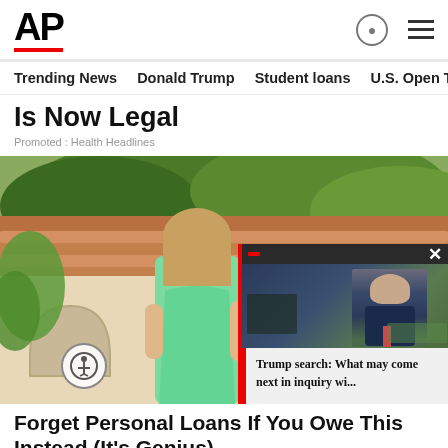AP
Trending News   Donald Trump   Student loans   U.S. Open Tenn
Is Now Legal
Promoted : Health Headlines
[Figure (photo): Woman in mint green dress standing outdoors in front of a Spanish-style home with terracotta roof tiles and trees. Overlaid with a video thumbnail showing a man in a dark suit with a red tie, with caption 'Trump search: What may come next in inquiry wi...']
Forget Personal Loans If You Owe This Instead (It's Genius)